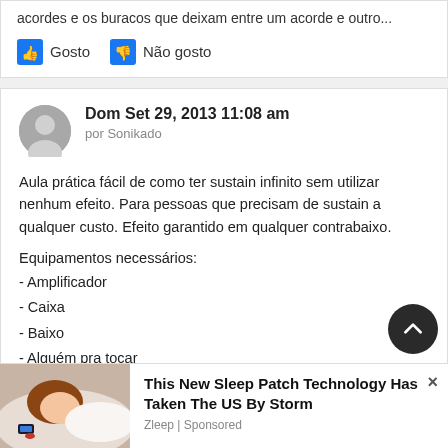acordes e os buracos que deixam entre um acorde e outro...
Gosto   Não gosto
Dom Set 29, 2013 11:08 am
por Sonikado
Aula prática fácil de como ter sustain infinito sem utilizar nenhum efeito. Para pessoas que precisam de sustain a qualquer custo. Efeito garantido em qualquer contrabaixo.
Equipamentos necessários:
- Amplificador
- Caixa
- Baixo
- Alguém pra tocar
- Cabos
This New Sleep Patch Technology Has Taken The US By Storm
Zleep | Sponsored